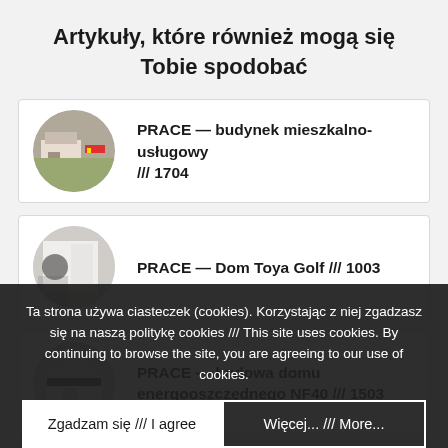Artykuły, które również mogą się Tobie spodobać
PRACE — budynek mieszkalno-usługowy /// 1704
PRACE — Dom Toya Golf /// 1003
PRACE — budowa domu energooszczędnego NF40 /// 1503
Ta strona używa ciasteczek (cookies). Korzystając z niej zgadzasz się na naszą politykę cookies /// This site uses cookies. By continuing to browse the site, you are agreeing to our use of cookies.
Zgadzam się /// I agree
Więcej... /// More...